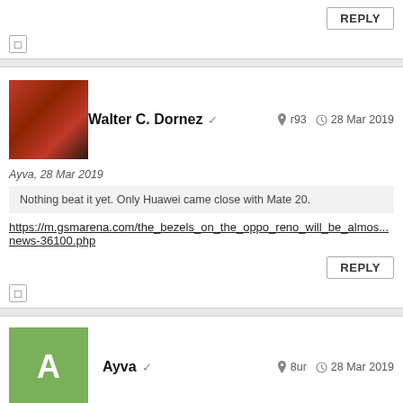REPLY
[Figure (other): Thumb up/like icon button (empty checkbox style)]
[Figure (photo): Avatar photo of Walter C. Dornez showing red flowers/decorations]
Walter C. Dornez ✓   r93   28 Mar 2019
Ayva, 28 Mar 2019
Nothing beat it yet. Only Huawei came close with Mate 20.
https://m.gsmarena.com/the_bezels_on_the_oppo_reno_will_be_almos...
news-36100.php
REPLY
[Figure (other): Thumb up/like icon button (empty checkbox style)]
[Figure (illustration): Avatar green square with letter A for user Ayva]
Ayva ✓   8ur   28 Mar 2019
Walter C. Dornez, 28 Mar 2019